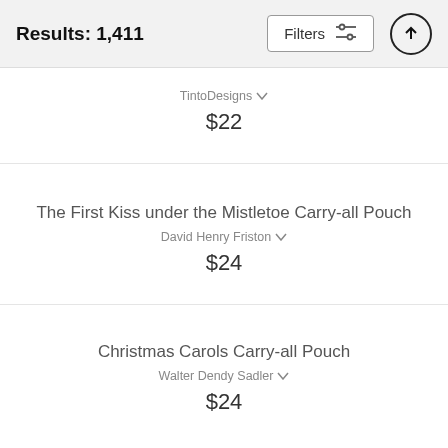Results: 1,411
TintoDesigns
$22
The First Kiss under the Mistletoe Carry-all Pouch
David Henry Friston
$24
Christmas Carols Carry-all Pouch
Walter Dendy Sadler
$24